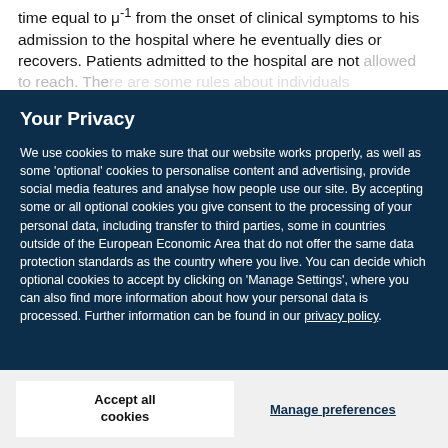time equal to μ⁻¹ from the onset of clinical symptoms to his admission to the hospital where he eventually dies or recovers. Patients admitted to the hospital are not allowed to reach. There are some rules about individuals
Your Privacy
We use cookies to make sure that our website works properly, as well as some 'optional' cookies to personalise content and advertising, provide social media features and analyse how people use our site. By accepting some or all optional cookies you give consent to the processing of your personal data, including transfer to third parties, some in countries outside of the European Economic Area that do not offer the same data protection standards as the country where you live. You can decide which optional cookies to accept by clicking on 'Manage Settings', where you can also find more information about how your personal data is processed. Further information can be found in our privacy policy.
Accept all cookies
Manage preferences